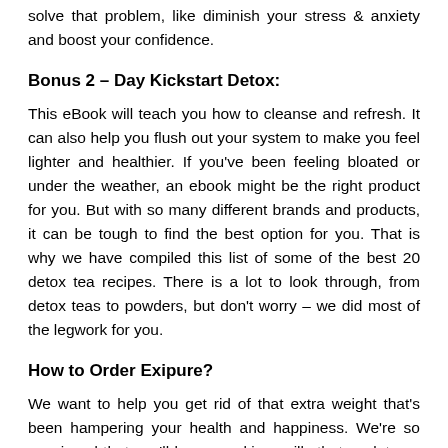solve that problem, like diminish your stress & anxiety and boost your confidence.
Bonus 2 – Day Kickstart Detox:
This eBook will teach you how to cleanse and refresh. It can also help you flush out your system to make you feel lighter and healthier. If you've been feeling bloated or under the weather, an ebook might be the right product for you. But with so many different brands and products, it can be tough to find the best option for you. That is why we have compiled this list of some of the best 20 detox tea recipes. There is a lot to look through, from detox teas to powders, but don't worry – we did most of the legwork for you.
How to Order Exipure?
We want to help you get rid of that extra weight that's been hampering your health and happiness. We're so convinced that you'll love our skinny pills that we let you try them risk-free! Before you know it, with your fit new body and exuberant